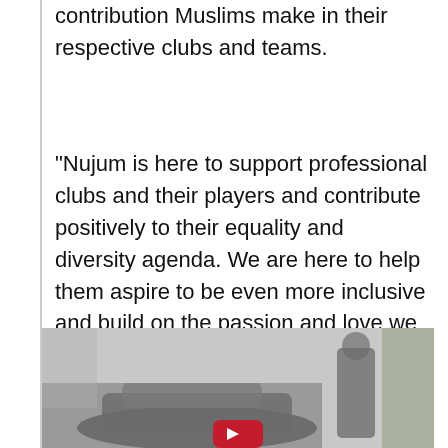contribution Muslims make in their respective clubs and teams.
“Nujum is here to support professional clubs and their players and contribute positively to their equality and diversity agenda. We are here to help them aspire to be even more inclusive and build on the passion and love we have for our respective clubs, players and fans.” [1]
[Figure (photo): A young man standing next to a dark car on a street, with trees and buildings in the background. A red video play button is visible at the bottom centre of the image.]